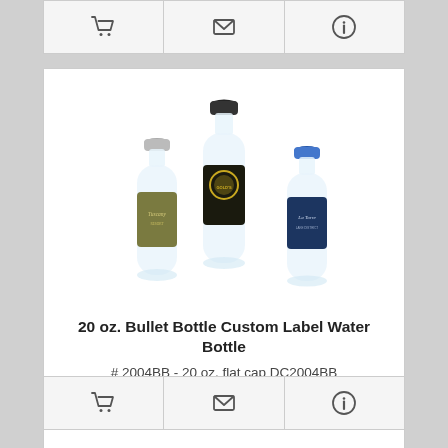[Figure (other): Top action bar with cart, email, and info icons]
[Figure (photo): Three custom label water bottles of different sizes with branded labels — Tuscany, Gold's Gym, and La Torre brands]
20 oz. Bullet Bottle Custom Label Water Bottle
# 2004BB - 20 oz. flat cap DC2004BB
14 day production time
$0.59 - $0.81 | Min Qty 864
[Figure (other): Bottom action bar with cart, email, and info icons]